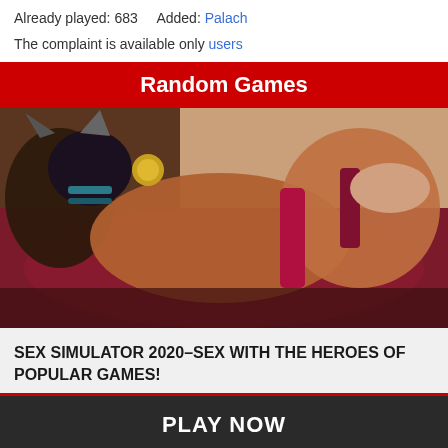Already played: 683    Added: Palach
The complaint is available only users
Random Games
[Figure (illustration): Animated/3D rendered adult game scene with fantasy characters on a crimson surface]
SEX SIMULATOR 2020-SEX WITH THE HEROES OF POPULAR GAMES!
PLAY NOW